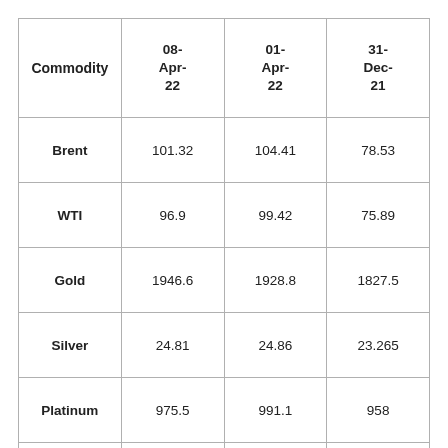| Commodity | 08-Apr-22 | 01-Apr-22 | 31-Dec-21 |
| --- | --- | --- | --- |
| Brent | 101.32 | 104.41 | 78.53 |
| WTI | 96.9 | 99.42 | 75.89 |
| Gold | 1946.6 | 1928.8 | 1827.5 |
| Silver | 24.81 | 24.86 | 23.265 |
| Platinum | 975.5 | 991.1 | 958 |
| Palladium | 2426 | 2289.5 | 1883.5 |